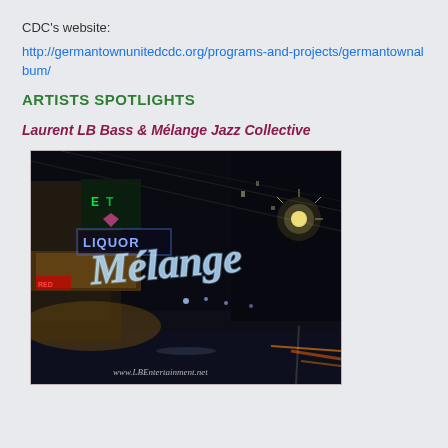CDC's website:
http://germantownunitedcdc.org/programs-and-projects/germantownalbum/
ARTISTS SPOTLIGHTS
Laurent LB Bass & Mélange Jazz Collective
[Figure (photo): Night street scene album cover for Mélange Jazz Collective showing a city street at night with neon signs including a LIQUOR sign, street lights, and a glowing cursive 'Mélange' text overlay. Bottom text reads www.LBEntertainment.net]